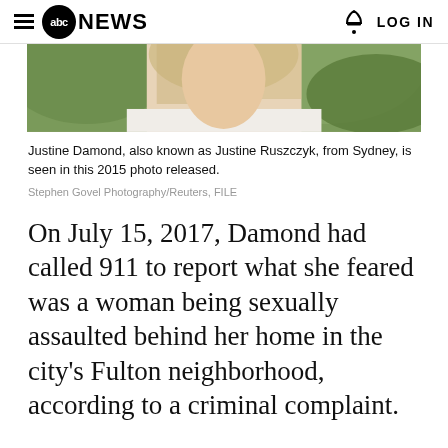abc NEWS  LOG IN
[Figure (photo): Partial photo of Justine Damond (also known as Justine Ruszczyk), a woman with blonde/grey highlighted hair, seen from the shoulders up, green foliage background, 2015 photo.]
Justine Damond, also known as Justine Ruszczyk, from Sydney, is seen in this 2015 photo released.
Stephen Govel Photography/Reuters, FILE
On July 15, 2017, Damond had called 911 to report what she feared was a woman being sexually assaulted behind her home in the city's Fulton neighborhood, according to a criminal complaint.